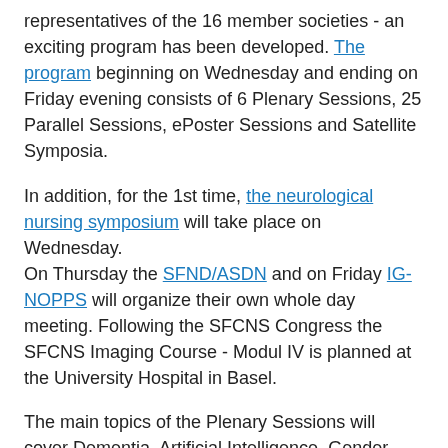representatives of the 16 member societies - an exciting program has been developed. The program beginning on Wednesday and ending on Friday evening consists of 6 Plenary Sessions, 25 Parallel Sessions, ePoster Sessions and Satellite Symposia.
In addition, for the 1st time, the neurological nursing symposium will take place on Wednesday. On Thursday the SFND/ASDN and on Friday IG-NOPPS will organize their own whole day meeting. Following the SFCNS Congress the SFCNS Imaging Course - Modul IV is planned at the University Hospital in Basel.
The main topics of the Plenary Sessions will cover Dementia, Artificial Intelligence, Gender, COVID-19 and game changing publications of the recent years. The kickoff of the congress will be the 1st SFCNS Stakeholder Dialogue Session on dementia. The topic of the Presidential lecture is dedicated to the